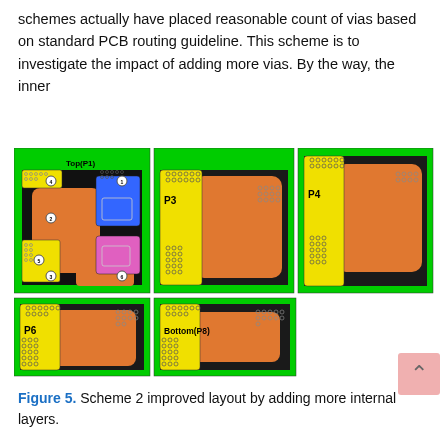schemes actually have placed reasonable count of vias based on standard PCB routing guideline. This scheme is to investigate the impact of adding more vias. By the way, the inner
[Figure (engineering-diagram): PCB layer layout diagrams showing 5 panels: Top(P1) with numbered components (1-6), P3, P4, P6, and Bottom(P8). Each panel shows a green PCB board with orange copper pour areas, yellow sections, and circular via patterns. Top(P1) also includes blue and pink/magenta component areas.]
Figure 5. Scheme 2 improved layout by adding more internal layers.